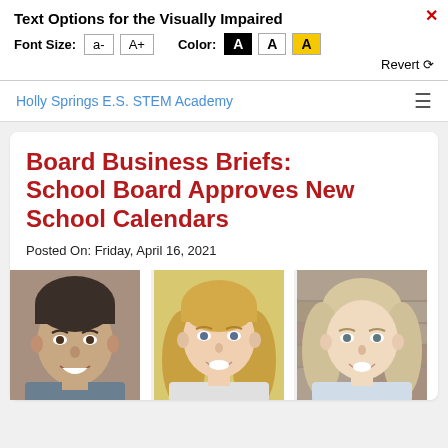Text Options for the Visually Impaired
Font Size: a- A+ Color: A A A Revert
Holly Springs E.S. STEM Academy
Board Business Briefs: School Board Approves New School Calendars
Posted On: Friday, April 16, 2021
[Figure (photo): Three headshot photos of school board members side by side: a man with dark hair smiling, a woman with long blonde hair smiling, and a woman with light hair smiling in front of a stone wall background.]